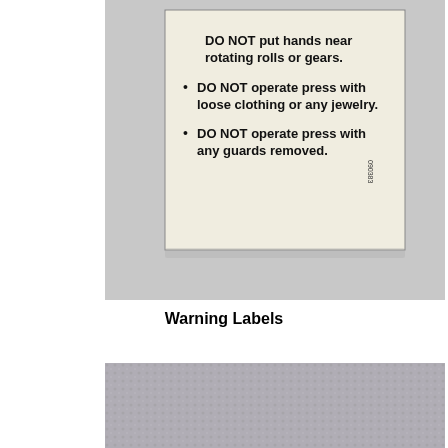[Figure (photo): A white warning label affixed to a surface showing safety instructions: DO NOT put hands near rotating rolls or gears. DO NOT operate press with loose clothing or any jewelry. DO NOT operate press with any guards removed. Label shows code 090383.]
Warning Labels
[Figure (photo): A cyan/turquoise bordered label with white background being peeled off a black rubber tire tread. The label has horizontal rules and a notched right side. Background shows a concrete or asphalt surface.]